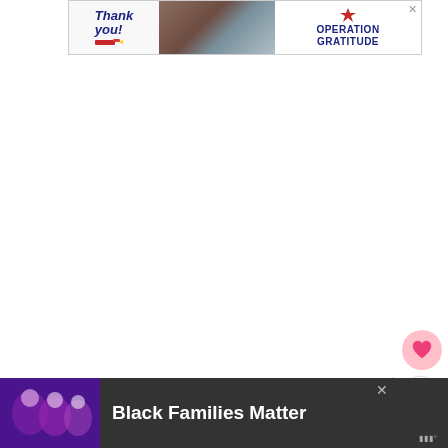[Figure (other): Operation Gratitude 'Thank You!' advertisement banner with soldier photo and American flag star logo]
[Figure (other): Heart/like floating button (pink circle with heart icon)]
[Figure (other): Share floating button (white circle with share icon)]
For some reason I had hard time figuring out what to do for my Mom and Mother- this year. I had finally decided would make a
[Figure (other): What's Next panel showing 'Mother's Day Gift {Tutorial}' with green thumbnail image]
[Figure (other): Black Families Matter advertisement banner with photo of smiling family and dark background]